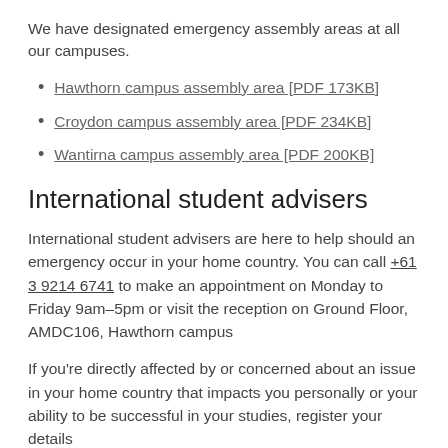We have designated emergency assembly areas at all our campuses.
Hawthorn campus assembly area [PDF 173KB]
Croydon campus assembly area [PDF 234KB]
Wantirna campus assembly area [PDF 200KB]
International student advisers
International student advisers are here to help should an emergency occur in your home country. You can call +61 3 9214 6741 to make an appointment on Monday to Friday 9am–5pm or visit the reception on Ground Floor, AMDC106, Hawthorn campus
If you're directly affected by or concerned about an issue in your home country that impacts you personally or your ability to be successful in your studies, register your details